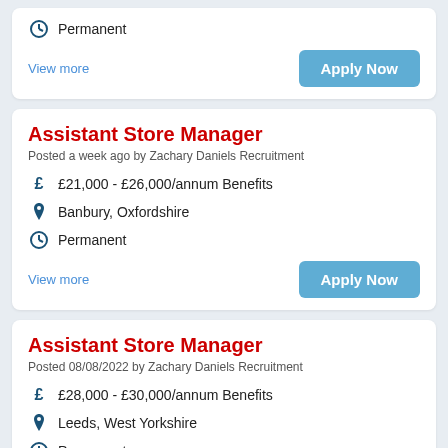Permanent
View more
Apply Now
Assistant Store Manager
Posted a week ago by Zachary Daniels Recruitment
£21,000 - £26,000/annum Benefits
Banbury, Oxfordshire
Permanent
View more
Apply Now
Assistant Store Manager
Posted 08/08/2022 by Zachary Daniels Recruitment
£28,000 - £30,000/annum Benefits
Leeds, West Yorkshire
Permanent
Apply Now